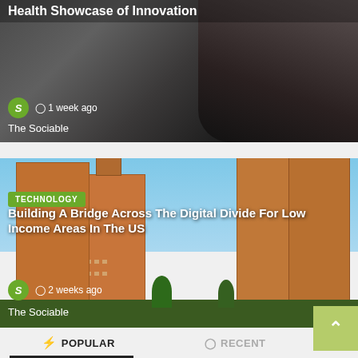[Figure (photo): Partial top card showing a person with medical/tech equipment, dark background, with source logo and timestamp overlay. Title partially visible: 'Health Showcase of Innovation']
1 week ago
The Sociable
[Figure (photo): Card showing urban apartment buildings - tall brick buildings against blue sky, technology news article card]
TECHNOLOGY
Building A Bridge Across The Digital Divide For Low Income Areas In The US
2 weeks ago
The Sociable
POPULAR
RECENT